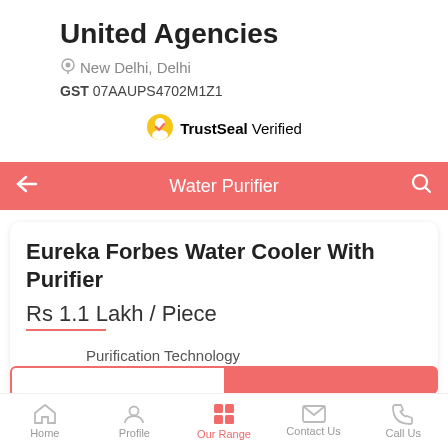United Agencies
New Delhi, Delhi
GST 07AAUPS4702M1Z1
TrustSeal Verified
Water Purifier
Eureka Forbes Water Cooler With Purifier
Rs 1.1 Lakh / Piece
Purification Technology
RO+UV
Storage Capacity
15L
Home | Profile | Our Range | Contact Us | Call Us